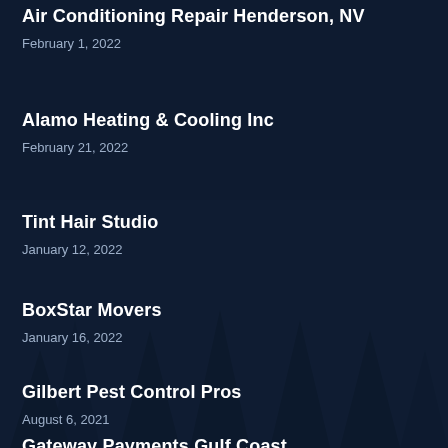Air Conditioning Repair Henderson, NV
February 1, 2022
Alamo Heating & Cooling Inc
February 21, 2022
Tint Hair Studio
January 12, 2022
BoxStar Movers
January 16, 2022
Gilbert Pest Control Pros
August 6, 2021
Gateway Payments Gulf Coast